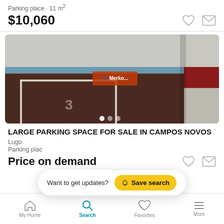Parking place · 11 m²
$10,060
[Figure (photo): Indoor parking space photo showing a marked parking bay with white lines on dark floor, a red and white striped pillar on the right, blue-painted wall in background. A Merkogeo watermark is visible in the center.]
LARGE PARKING SPACE FOR SALE IN CAMPOS NOVOS
Lugo
Parking place
Price on demand
Want to get updates?  Save search
My Home   Search   Favorites   More